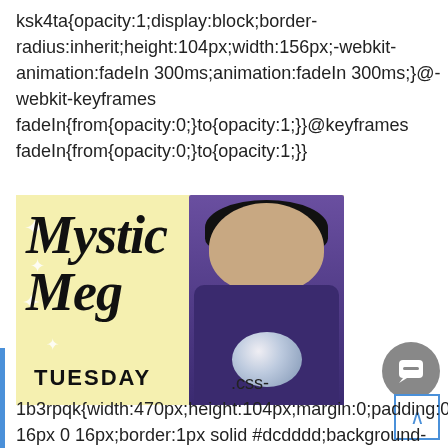ksk4ta{opacity:1;display:block;border-radius:inherit;height:104px;width:156px;-webkit-animation:fadeIn 300ms;animation:fadeIn 300ms;}@-webkit-keyframes fadeIn{from{opacity:0;}to{opacity:1;}}@keyframes fadeIn{from{opacity:0;}to{opacity:1;}}
[Figure (illustration): Mystic Meg promotional image: yellow background with white stars, bold italic 'Mystic Meg' text, woman with dark bob haircut wearing blue outfit holding crystal ball, 'TUESDAY' text at bottom]
.css-1b3rpqk{width:470px;height:104px;margin:0;padding:0 16px 0 16px;border:1px solid #dcdddd;background-